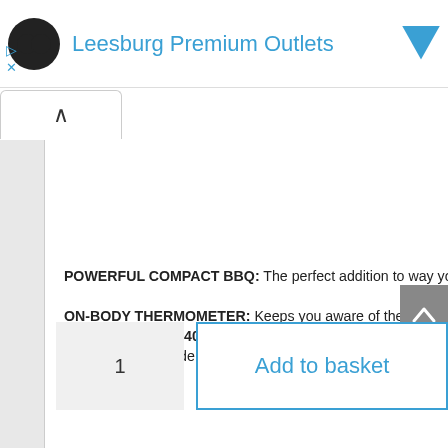Leesburg Premium Outlets
POWERFUL COMPACT BBQ: The perfect addition to way you like it.
ON-BODY THERMOMETER: Keeps you aware of the
REACHES UP TO 400°C: Powerful heat to keep your coating on the outside for safe heat resistance.
1
Add to basket